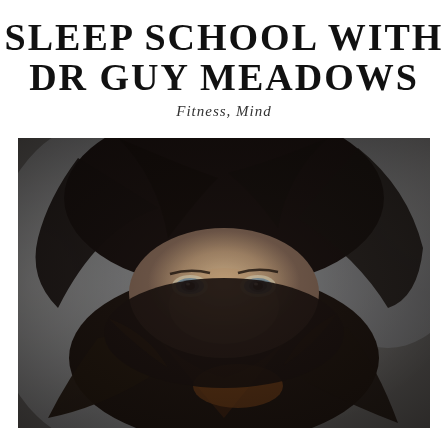SLEEP SCHOOL WITH DR GUY MEADOWS
Fitness, Mind
[Figure (photo): A young woman lying in bed, her dark curly hair spread across a white pillow and covering the lower portion of her face. She is looking upward with blue-gray eyes visible. The photo is taken from above in moody, desaturated tones, evoking sleeplessness or waking.]